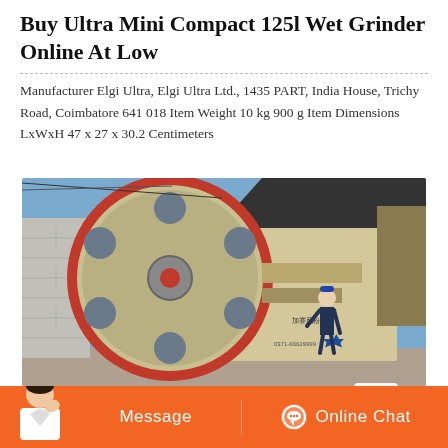Buy Ultra Mini Compact 125l Wet Grinder Online At Low
Manufacturer Elgi Ultra, Elgi Ultra Ltd., 1435 PART, India House, Trichy Road, Coimbatore 641 018 Item Weight 10 kg 900 g Item Dimensions LxWxH 47 x 27 x 30.2 Centimeters
[Figure (photo): Photo of a large industrial jaw crusher machine (cream/yellow colored) with a large circular flywheel with holes, red rim, mounted outdoors. A worker in dark uniform stands beside the machine. A blue star logo and Chinese phone number visible on the machine body. Blue sky background with concrete block wall on left.]